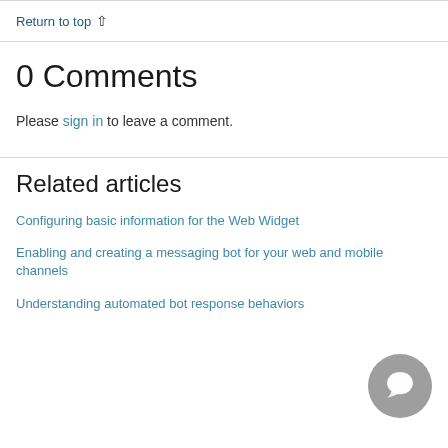Return to top ↑
0 Comments
Please sign in to leave a comment.
Related articles
Configuring basic information for the Web Widget
Enabling and creating a messaging bot for your web and mobile channels
Understanding automated bot response behaviors